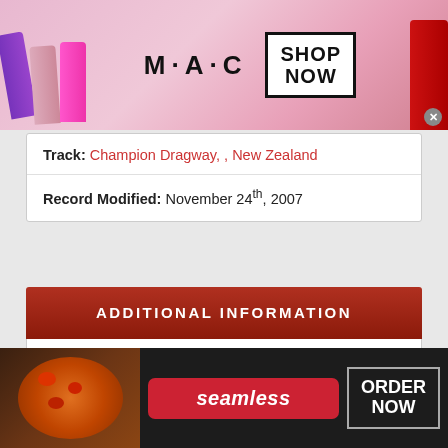[Figure (advertisement): MAC cosmetics advertisement banner with lipsticks in purple, pink, hot pink and red, MAC logo, and SHOP NOW button]
Track: Champion Dragway, , New Zealand
Record Modified: November 24th, 2007
ADDITIONAL INFORMATION
car is boosting 14psi with intake, exhaust and front mount intercooler
[Figure (advertisement): Seamless food delivery advertisement with pizza image, Seamless logo and ORDER NOW button]